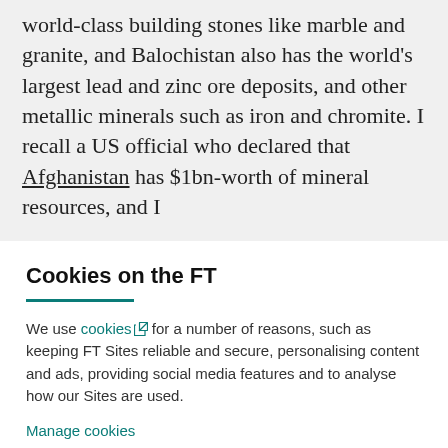world-class building stones like marble and granite, and Balochistan also has the world's largest lead and zinc ore deposits, and other metallic minerals such as iron and chromite. I recall a US official who declared that Afghanistan has $1bn-worth of mineral resources, and I
Cookies on the FT
We use cookies for a number of reasons, such as keeping FT Sites reliable and secure, personalising content and ads, providing social media features and to analyse how our Sites are used.
Manage cookies
Accept & continue